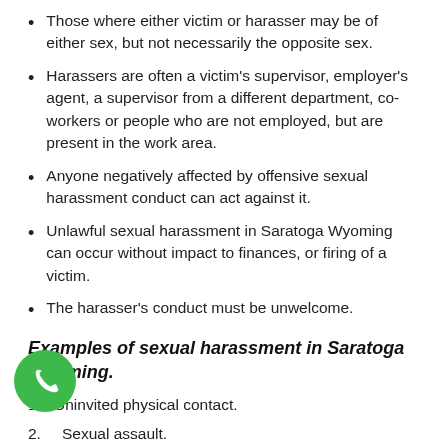Those where either victim or harasser may be of either sex, but not necessarily the opposite sex.
Harassers are often a victim's supervisor, employer's agent, a supervisor from a different department, co-workers or people who are not employed, but are present in the work area.
Anyone negatively affected by offensive sexual harassment conduct can act against it.
Unlawful sexual harassment in Saratoga Wyoming can occur without impact to finances, or firing of a victim.
The harasser's conduct must be unwelcome.
Examples of sexual harassment in Saratoga Wyoming.
1. Uninvited physical contact.
2. Sexual assault.
3. Displaying sexually explicit media, or objects.